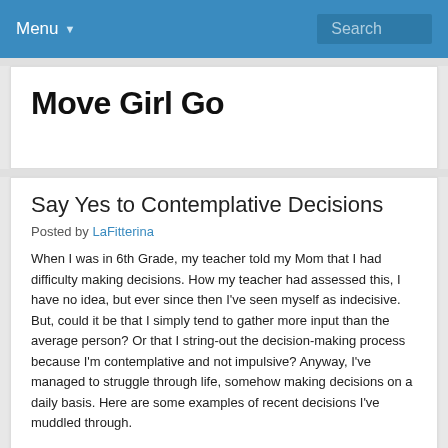Menu  Search
Move Girl Go
Say Yes to Contemplative Decisions
Posted by LaFitterina
When I was in 6th Grade, my teacher told my Mom that I had difficulty making decisions. How my teacher had assessed this, I have no idea, but ever since then I've seen myself as indecisive. But, could it be that I simply tend to gather more input than the average person? Or that I string-out the decision-making process because I'm contemplative and not impulsive? Anyway, I've managed to struggle through life, somehow making decisions on a daily basis. Here are some examples of recent decisions I've muddled through.
1 – Got a new gardener and asked him to re-do the desolate, weedy hill in back of my house, adding a drip system and 30 new flowering